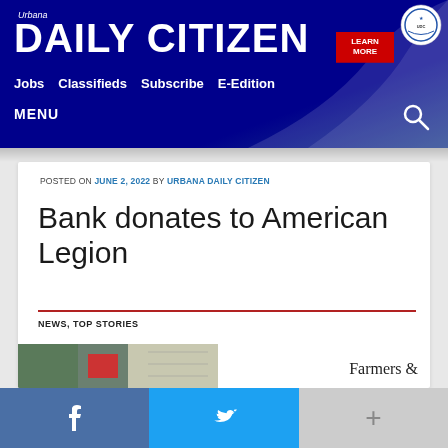Urbana DAILY CITIZEN — Jobs  Classifieds  Subscribe  E-Edition — MENU
POSTED ON JUNE 2, 2022 BY URBANA DAILY CITIZEN
Bank donates to American Legion
NEWS, TOP STORIES
Farmers &
f  twitter  +